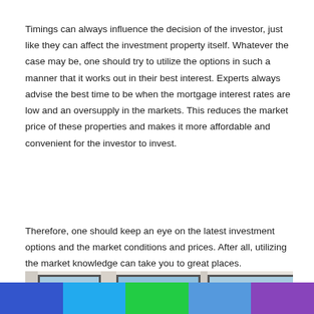Timings can always influence the decision of the investor, just like they can affect the investment property itself. Whatever the case may be, one should try to utilize the options in such a manner that it works out in their best interest. Experts always advise the best time to be when the mortgage interest rates are low and an oversupply in the markets. This reduces the market price of these properties and makes it more affordable and convenient for the investor to invest.
Therefore, one should keep an eye on the latest investment options and the market conditions and prices. After all, utilizing the market knowledge can take you to great places.
[Figure (photo): Interior of a modern apartment or condo with floor-to-ceiling windows showing a city skyline, bright blue sky, and a circular floor lamp visible in the foreground.]